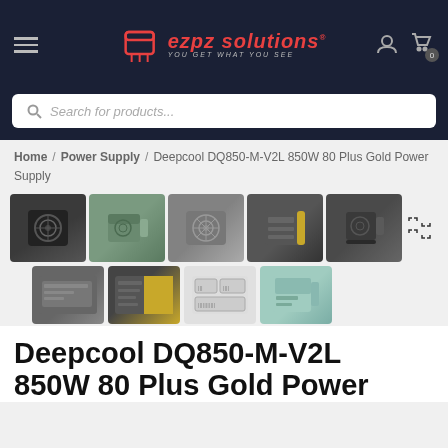ezpz solutions - you get what you see
Search for products...
Home / Power Supply / Deepcool DQ850-M-V2L 850W 80 Plus Gold Power Supply
[Figure (photo): Product gallery showing multiple views of Deepcool DQ850-M-V2L 850W 80 Plus Gold Power Supply unit from different angles, including front fan view, side view, label view, cables, and retail box.]
Deepcool DQ850-M-V2L 850W 80 Plus Gold Power Supply